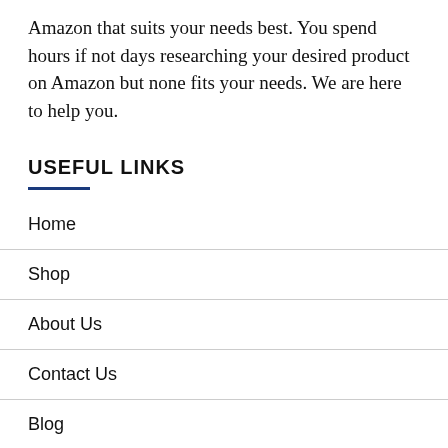Amazon that suits your needs best. You spend hours if not days researching your desired product on Amazon but none fits your needs. We are here to help you.
USEFUL LINKS
Home
Shop
About Us
Contact Us
Blog
Affiliate Disclosure
SEARCH